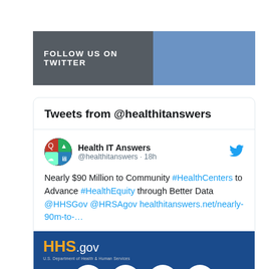FOLLOW US ON TWITTER
[Figure (screenshot): Twitter feed widget showing tweets from @healthitanswers. Tweet from Health IT Answers (@healthitanswers · 18h): Nearly $90 Million to Community #HealthCenters to Advance #HealthEquity through Better Data @HHSGov @HRSAgov healthitanswers.net/nearly-90m-to-... Followed by an HHS.gov image with agency logos.]
Tweets from @healthitanswers
Health IT Answers @healthitanswers · 18h
Nearly $90 Million to Community #HealthCenters to Advance #HealthEquity through Better Data @HHSGov @HRSAgov healthitanswers.net/nearly-90m-to-...